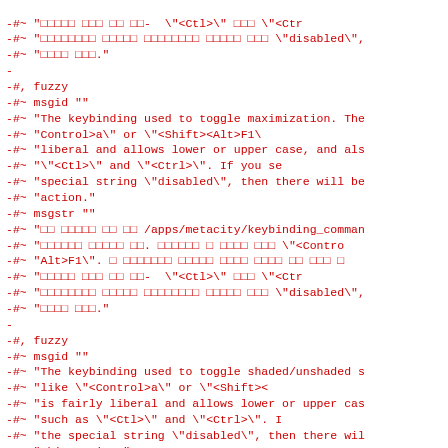-#~ "□□□□□ □□□ □□ □□-  \"&lt;Ctl&gt;\" □□□ \"&lt;Ctr
-#~ "□□□□□□□□ □□□□□ □□□□□□□□ □□□□□ □□□ \"disabled\",
-#~ "□□□□ □□□."
-
-#, fuzzy
-#~ msgid ""
-#~ "The keybinding used to toggle maximization. The
-#~ "Control&gt;a\" or \"&lt;Shift&gt;&lt;Alt&gt;F1\
-#~ "liberal and allows lower or upper case, and als
-#~ "\"&lt;Ctl&gt;\" and \"&lt;Ctrl&gt;\". If you se
-#~ "special string \"disabled\", then there will be
-#~ "action."
-#~ msgstr ""
-#~ "□□ □□□□□ □□ □□ /apps/metacity/keybinding_comman
-#~ "□□□□□□ □□□□□ □□. □□□□□□ □ □□□□ □□□ \"&lt;Contro
-#~ "Alt&gt;F1\". □ □□□□□□□ □□□□□ □□□□ □□□□ □□ □□□ □
-#~ "□□□□□ □□□ □□ □□-  \"&lt;Ctl&gt;\" □□□ \"&lt;Ctr
-#~ "□□□□□□□□ □□□□□ □□□□□□□□ □□□□□ □□□ \"disabled\",
-#~ "□□□□ □□□."
-
-#, fuzzy
-#~ msgid ""
-#~ "The keybinding used to toggle shaded/unshaded s
-#~ "like \"&lt;Control&gt;a\" or \"&lt;Shift&gt;&lt;
-#~ "is fairly liberal and allows lower or upper cas
-#~ "such as \"&lt;Ctl&gt;\" and \"&lt;Ctrl&gt;\". I
-#~ "the special string \"disabled\", then there wil
-#~ "this action."
-#~ msgstr ""
-#~ "□□ □□□□□ □□ □□ /apps/metacity/keybinding_comman